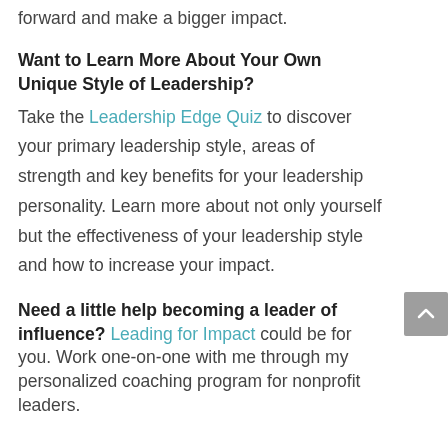forward and make a bigger impact.
Want to Learn More About Your Own Unique Style of Leadership?
Take the Leadership Edge Quiz to discover your primary leadership style, areas of strength and key benefits for your leadership personality. Learn more about not only yourself but the effectiveness of your leadership style and how to increase your impact.
Need a little help becoming a leader of influence?
Leading for Impact could be for you. Work one-on-one with me through my personalized coaching program for nonprofit leaders.